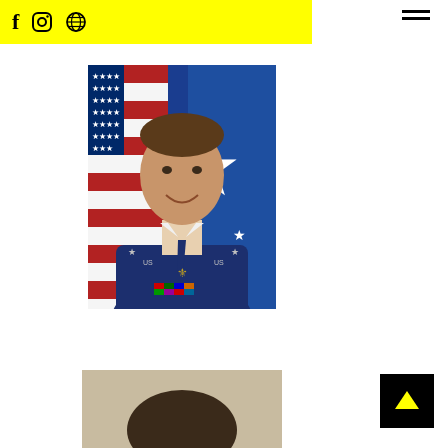Navigation header with social icons (Facebook, Instagram, globe) and hamburger menu on yellow background
[Figure (photo): Official military portrait of a U.S. Air Force Brigadier General in dress blue uniform with ribbons and wings, posed in front of American flag and blue general officer flag with star]
[Figure (photo): Partial portrait photo of a person, cropped showing top of head with dark hair against neutral background]